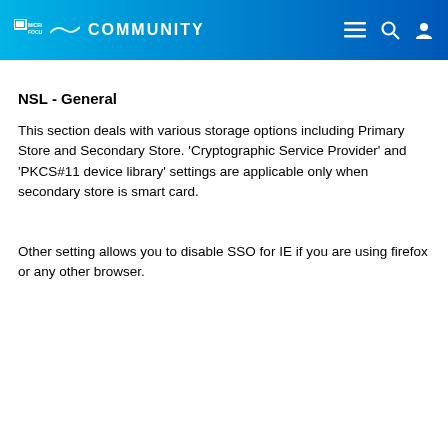MICRO FOCUS COMMUNITY
NSL - General
This section deals with various storage options including Primary Store and Secondary Store. 'Cryptographic Service Provider' and 'PKCS#11 device library' settings are applicable only when secondary store is smart card.
Other setting allows you to disable SSO for IE if you are using firefox or any other browser.